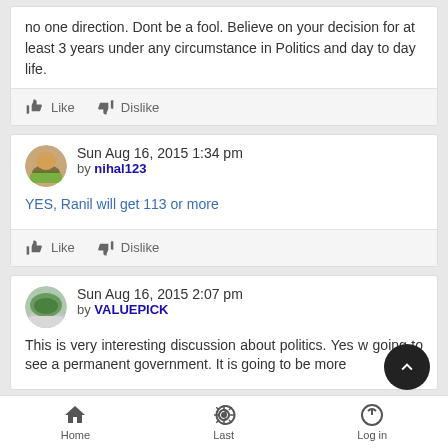no one direction. Dont be a fool. Believe on your decision for at least 3 years under any circumstance in Politics and day to day life.
Like  Dislike
Sun Aug 16, 2015 1:34 pm by nihal123
YES, Ranil will get 113 or more
Like  Dislike
Sun Aug 16, 2015 2:07 pm by VALUEPICK
This is very interesting discussion about politics. Yes w... going to see a permanent government. It is going to be more
Home  Last  Log in